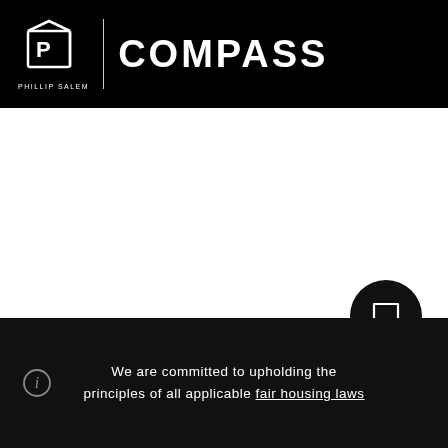[Figure (logo): Phillip Salem Compass real estate logo: stylized P icon with house outline and COMPASS wordmark on black background]
[Figure (other): White blank content area, main body of page]
We are committed to upholding the principles of all applicable fair housing laws